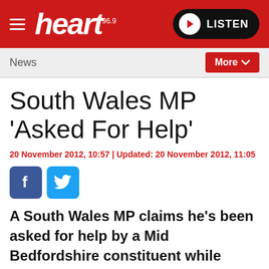heart 96.9 | LISTEN
News | More
South Wales MP 'Asked For Help'
20 November 2012, 10:57 | Updated: 20 November 2012, 11:05
[Figure (other): Facebook and Twitter social sharing icons]
A South Wales MP claims he's been asked for help by a Mid Bedfordshire constituent while Nadine Dorries is on